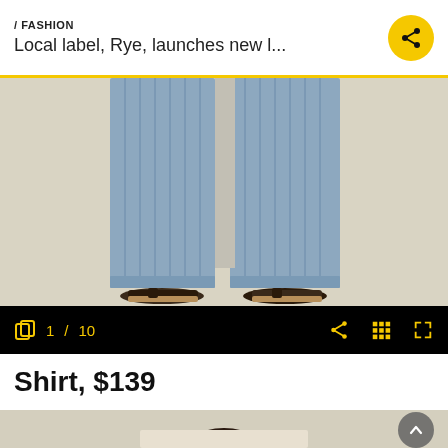/ FASHION — Local label, Rye, launches new l...
[Figure (photo): Lower half of a person wearing wide-leg blue and white pinstripe trousers with cuffed hems, paired with black leather flat sandals, against a warm beige/cream background.]
1 / 10
Shirt, $139
[Figure (photo): Top of a person's head with dark hair, wearing a shirt, against a beige/cream background. Partial view cropped at bottom of page.]